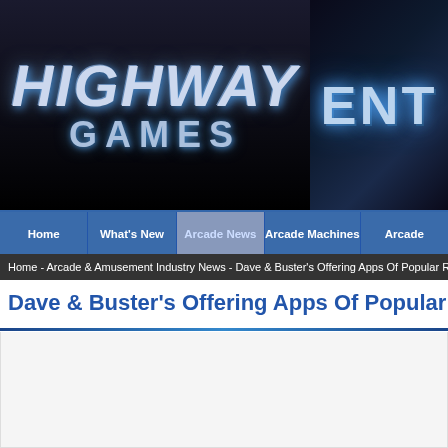[Figure (logo): Highway Games logo with stylized blue metallic text on black background, and partial 'ENT' text on right side with blue glow effect]
Home | What's New | Arcade News | Arcade Machines | Arcade
Home - Arcade & Amusement Industry News - Dave & Buster's Offering Apps Of Popular R
Dave & Buster's Offering Apps Of Popular Redem
[Figure (logo): Dave and Buster's circular logo with blue border, orange center, and D&B text]
Dave & Buster's is now offer coin operated redemption ga
The games that have been m Big Bass Wheel by Bay Tek,
To transform redemption ma own challenges, and as a re